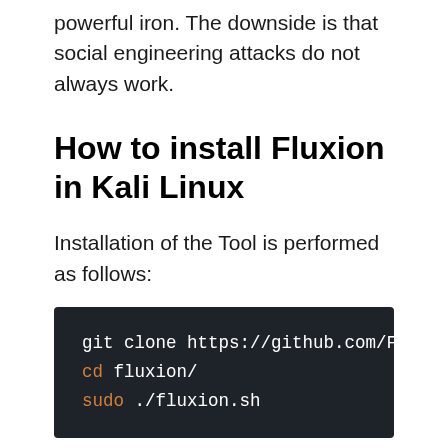powerful iron. The downside is that social engineering attacks do not always work.
How to install Fluxion in Kali Linux
Installation of the Tool is performed as follows:
[Figure (screenshot): Terminal code block showing: git clone https://github.com/Flu  cd fluxion/  sudo ./fluxion.sh]
Please note that we did not manually install the Fluxion dependencies, because the first